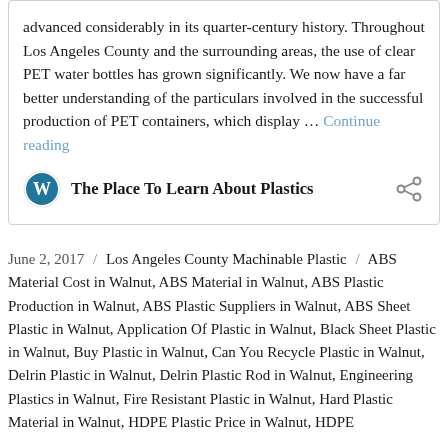advanced considerably in its quarter-century history. Throughout Los Angeles County and the surrounding areas, the use of clear PET water bottles has grown significantly. We now have a far better understanding of the particulars involved in the successful production of PET containers, which display … Continue reading
The Place To Learn About Plastics
June 2, 2017 / Los Angeles County Machinable Plastic / ABS Material Cost in Walnut, ABS Material in Walnut, ABS Plastic Production in Walnut, ABS Plastic Suppliers in Walnut, ABS Sheet Plastic in Walnut, Application Of Plastic in Walnut, Black Sheet Plastic in Walnut, Buy Plastic in Walnut, Can You Recycle Plastic in Walnut, Delrin Plastic in Walnut, Delrin Plastic Rod in Walnut, Engineering Plastics in Walnut, Fire Resistant Plastic in Walnut, Hard Plastic Material in Walnut, HDPE Plastic Price in Walnut, HDPE